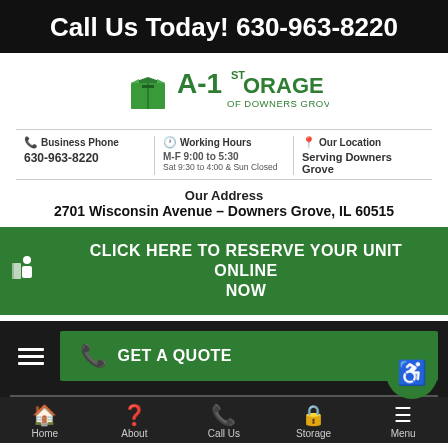Call Us Today! 630-963-8220
[Figure (logo): A-1 Storage of Downers Grove logo with green open box icon, green text A-1 Storage, and subtitle Of Downers Grove]
Business Phone 630-963-8220 | Working Hours M-F 9:00 to 5:30 Sat 9:30 to 4:00 & Sun Closed | Our Location Serving Downers Grove
Our Address
2701 Wisconsin Avenue – Downers Grove, IL 60515
CLICK HERE TO RESERVE YOUR UNIT ONLINE NOW
GET A QUOTE
Home | About | Call Us | Storage | Menu